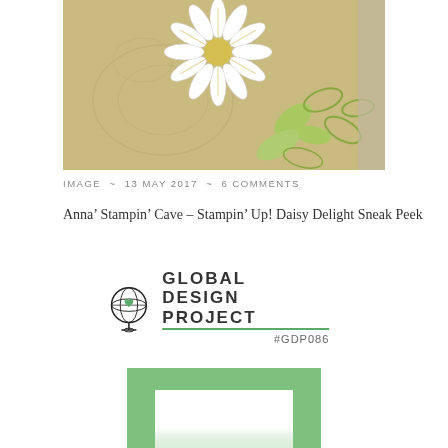[Figure (photo): Photo of a paper daisy flower craft on a tan/kraft card background with green leaf die-cuts and embossed floral designs]
IMAGE ~ 13 MAY 2017 ~ 6 COMMENTS
Anna’ Stampin’ Cave – Stampin’ Up! Daisy Delight Sneak Peek
[Figure (logo): Global Design Project logo with globe icon and text GLOBAL DESIGN PROJECT #GDP086]
[Figure (illustration): Green bordered square frame with white center, partially visible color swatch design]